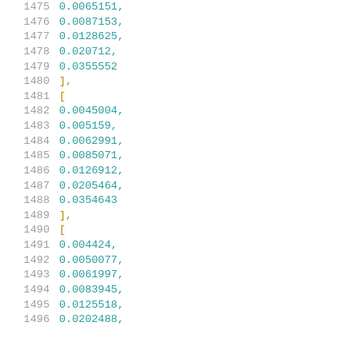Code listing showing numerical array data with line numbers 1475-1496
1475    0.0065151,
1476    0.0087153,
1477    0.0128625,
1478    0.020712,
1479    0.0355552
1480    ],
1481    [
1482    0.0045004,
1483    0.005159,
1484    0.0062991,
1485    0.0085071,
1486    0.0126912,
1487    0.0205464,
1488    0.0354643
1489    ],
1490    [
1491    0.004424,
1492    0.0050077,
1493    0.0061997,
1494    0.0083945,
1495    0.0125518,
1496    0.0202488,